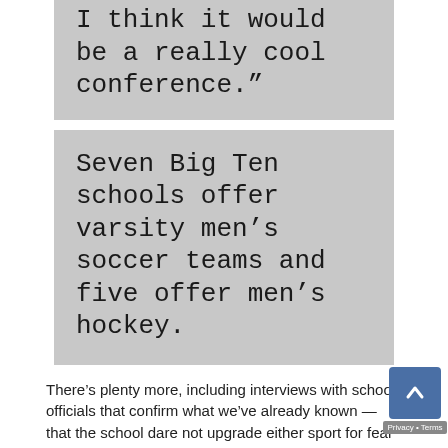I think it would be a really cool conference."
Seven Big Ten schools offer varsity men's soccer teams and five offer men's hockey.
There's plenty more, including interviews with school officials that confirm what we've already known — that the school dare not upgrade either sport for fear of running afoul of the proportionality prong of Title IX.
Then again, there is another option: in the same state, Western Illinois University is using a survey to compliance with Title IX. More schools needs to